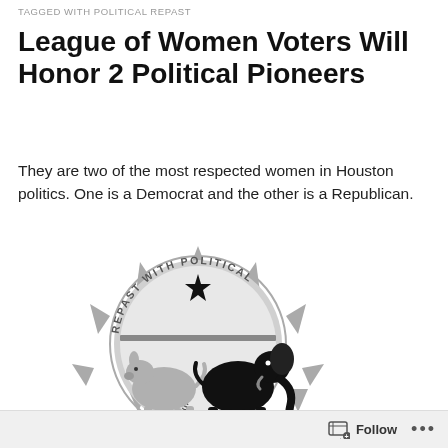TAGGED WITH POLITICAL REPAST
League of Women Voters Will Honor 2 Political Pioneers
They are two of the most respected women in Houston politics. One is a Democrat and the other is a Republican.
[Figure (logo): Circular logo with gear/sun-burst border, text reading 'REPAST WITH POLITICAL PIONEERS' around the edge, and center showing a donkey and elephant (Democratic and Republican party symbols) with a star above them, all in grayscale.]
Follow ...